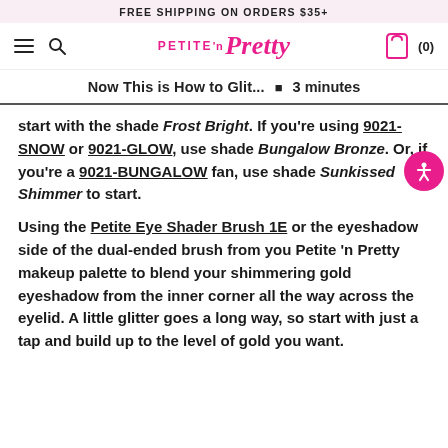FREE SHIPPING ON ORDERS $35+
[Figure (logo): Petite 'n Pretty logo in pink with hamburger menu and search icon on the left, shopping bag icon and cart count (0) on the right]
Now This is How to Glit... • 3 minutes
start with the shade Frost Bright. If you're using 9021-SNOW or 9021-GLOW, use shade Bungalow Bronze. Or, if you're a 9021-BUNGALOW fan, use shade Sunkissed Shimmer to start.
Using the Petite Eye Shader Brush 1E or the eyeshadow side of the dual-ended brush from you Petite 'n Pretty makeup palette to blend your shimmering gold eyeshadow from the inner corner all the way across the eyelid. A little glitter goes a long way, so start with just a tap and build up to the level of gold you want.